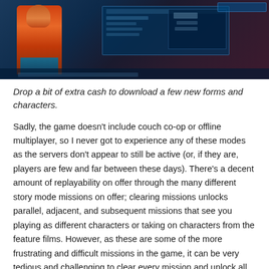[Figure (screenshot): Screenshot of a video game showing a character in orange/red costume on the left, a blue UI panel with game stats/options in the center, and a dark teal/red gradient background.]
Drop a bit of extra cash to download a few new forms and characters.
Sadly, the game doesn't include couch co-op or offline multiplayer, so I never got to experience any of these modes as the servers don't appear to still be active (or, if they are, players are few and far between these days). There's a decent amount of replayability on offer through the many different story mode missions on offer; clearing missions unlocks parallel, adjacent, and subsequent missions that see you playing as different characters or taking on characters from the feature films. However, as these are some of the more frustrating and difficult missions in the game, it can be very tedious and challenging to clear every mission and unlock all the game's playable